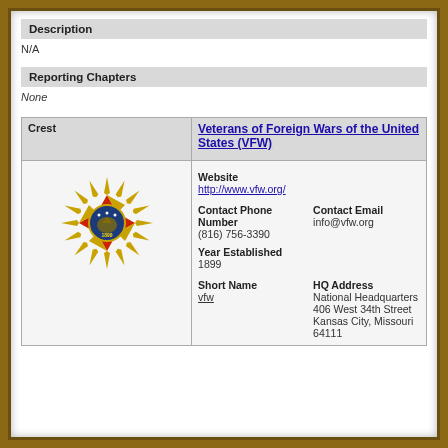Description
N/A
Reporting Chapters
None
| Crest | Veterans of Foreign Wars of the United States (VFW) |
| --- | --- |
| [VFW emblem image] | Website
http://www.vfw.org/

Contact Phone Number
(816) 756-3390

Contact Email
info@vfw.org

Year Established
1899

Short Name
vfw

HQ Address
National Headquarters 406 West 34th Street Kansas City, Missouri 64111 |